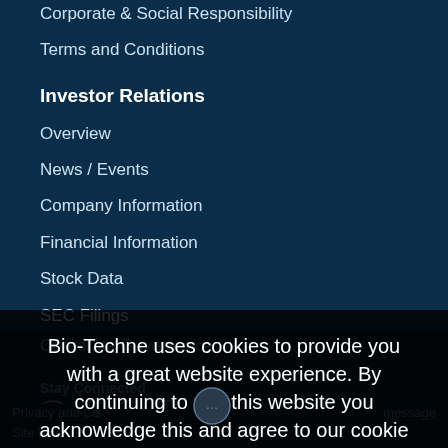Corporate & Social Responsibility
Terms and Conditions
Investor Relations
Overview
News / Events
Company Information
Financial Information
Stock Data
SEC Filings
Corporate Governance
Stay Connected
Contact Us
Bio-Techne uses cookies to provide you with a great website experience. By continuing to use this website you acknowledge this and agree to our cookie policy. Learn more.
I Agree
Privacy and Co
message
Site Map